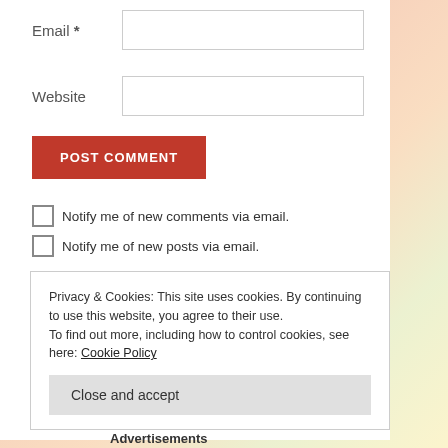Email *
Website
POST COMMENT
Notify me of new comments via email.
Notify me of new posts via email.
Privacy & Cookies: This site uses cookies. By continuing to use this website, you agree to their use. To find out more, including how to control cookies, see here: Cookie Policy
Close and accept
Advertisements